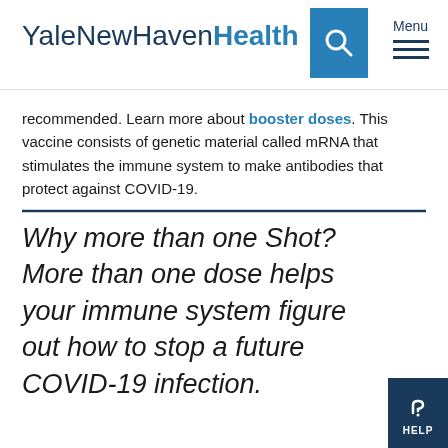YaleNewHavenHealth
recommended. Learn more about booster doses. This vaccine consists of genetic material called mRNA that stimulates the immune system to make antibodies that protect against COVID-19.
Why more than one Shot? More than one dose helps your immune system figure out how to stop a future COVID-19 infection.